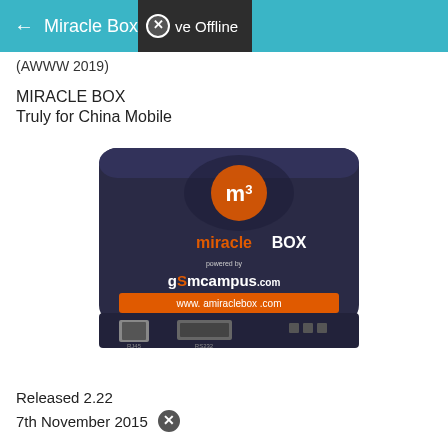← Miracle Box ✕ ve Offline
(AWWW 2019)
MIRACLE BOX
Truly for China Mobile
[Figure (photo): Photo of the Miracle Box hardware device – a black rectangular box with the Miracle Box logo, dragon graphic, 'powered by gSmcampus.com' text, 'www.amiraclebox.com' URL on an orange strip, and ports on the front including ethernet and serial connectors.]
Released 2.22
7th November 2015